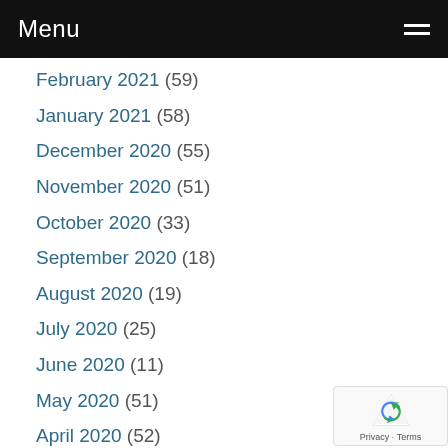Menu
February 2021 (59)
January 2021 (58)
December 2020 (55)
November 2020 (51)
October 2020 (33)
September 2020 (18)
August 2020 (19)
July 2020 (25)
June 2020 (11)
May 2020 (51)
April 2020 (52)
March 2020 (54)
February 2020 (46)
January 2020 (39)